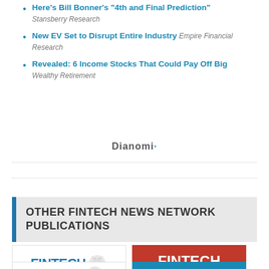Here’s Bill Bonner’s “4th and Final Prediction” Stansberry Research
New EV Set to Disrupt Entire Industry Empire Financial Research
Revealed: 6 Income Stocks That Could Pay Off Big Wealthy Retirement
[Figure (logo): Dianomi logo/brand name in bold dark text]
OTHER FINTECH NEWS NETWORK PUBLICATIONS
[Figure (logo): Fintech Malaysia logo - blue FINTECH text with tiger icon, fintechnews.my]
[Figure (logo): Fintech Hong Kong logo - white FINTECH text on red background, HONG KONG subtitle, fintechnews.hk on blue bar]
[Figure (logo): Partial Fintech logo bottom left (truncated)]
[Figure (logo): Partial Fintech logo bottom right on teal background (truncated)]